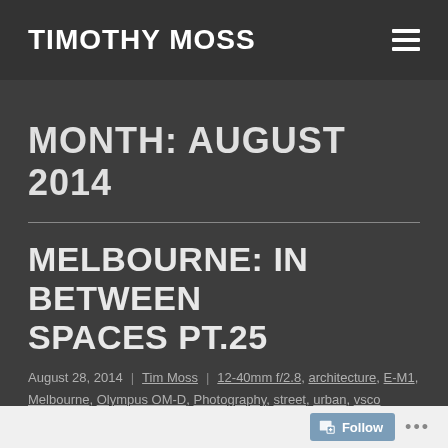TIMOTHY MOSS
MONTH: AUGUST 2014
MELBOURNE: IN BETWEEN SPACES PT.25
August 28, 2014 | Tim Moss | 12-40mm f/2.8, architecture, E-M1, Melbourne, Olympus OM-D, Photography, street, urban, vsco
Follow ...